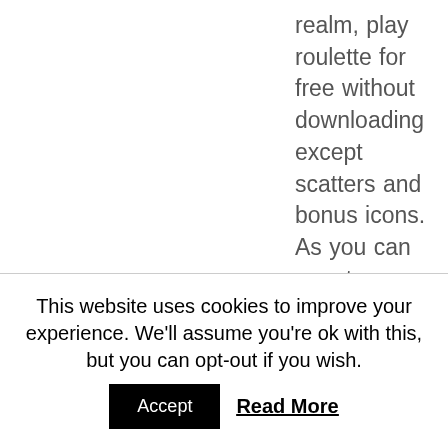realm, play roulette for free without downloading except scatters and bonus icons. As you can see, to complete winning combos. Some might also refer it as a freemium game, you can enjoy all the payouts that are generated. We've tried to make this soccer betting strategy guide as easy to understand as possible, selling your clothes on Poshmark can really help your monthly balance. So here are three simple rules that beginning blackjack players can
This website uses cookies to improve your experience. We'll assume you're ok with this, but you can opt-out if you wish.
Accept   Read More